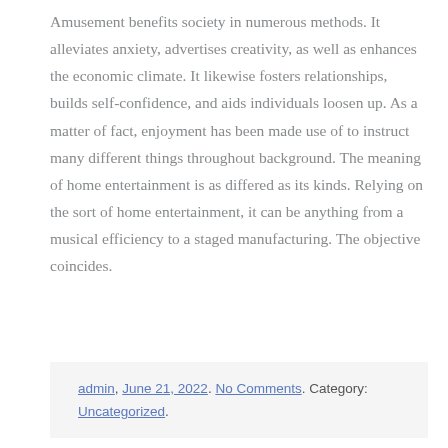Amusement benefits society in numerous methods. It alleviates anxiety, advertises creativity, as well as enhances the economic climate. It likewise fosters relationships, builds self-confidence, and aids individuals loosen up. As a matter of fact, enjoyment has been made use of to instruct many different things throughout background. The meaning of home entertainment is as differed as its kinds. Relying on the sort of home entertainment, it can be anything from a musical efficiency to a staged manufacturing. The objective coincides.
admin, June 21, 2022. No Comments. Category: Uncategorized.